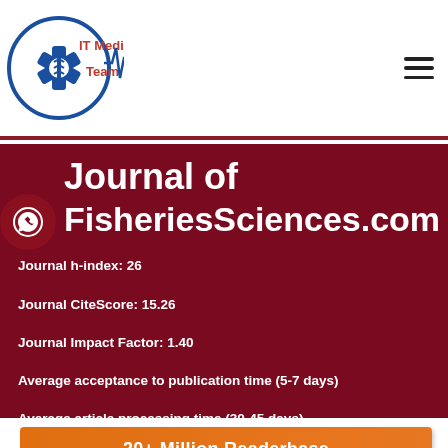[Figure (logo): IT Medical Team logo with Star of Life symbol and heartbeat/ECG line graphic]
Journal of FisheriesSciences.com
Journal h-index: 26
Journal CiteScore: 15.26
Journal Impact Factor: 1.40
Average acceptance to publication time (5-7 days)
Average article processing time (30-45 days)
20+ Million Readerbase
JOURNAL HOME
EDITORS